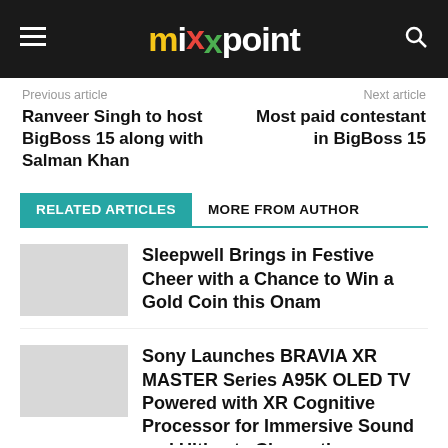mixpoint
Previous article
Next article
Ranveer Singh to host BigBoss 15 along with Salman Khan
Most paid contestant in BigBoss 15
RELATED ARTICLES   MORE FROM AUTHOR
Sleepwell Brings in Festive Cheer with a Chance to Win a Gold Coin this Onam
Sony Launches BRAVIA XR MASTER Series A95K OLED TV Powered with XR Cognitive Processor for Immersive Sound and Ultimate Cinematic